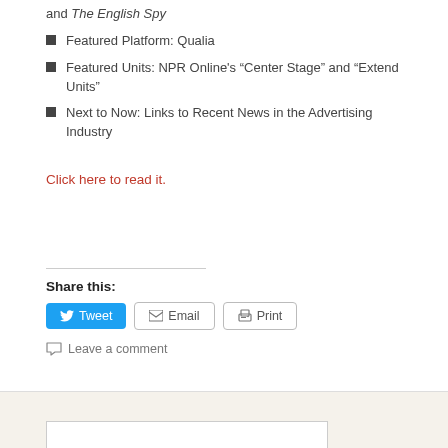and The English Spy
Featured Platform: Qualia
Featured Units: NPR Online's “Center Stage” and “Extend Units”
Next to Now: Links to Recent News in the Advertising Industry
Click here to read it.
Share this:
Tweet  Email  Print
Leave a comment